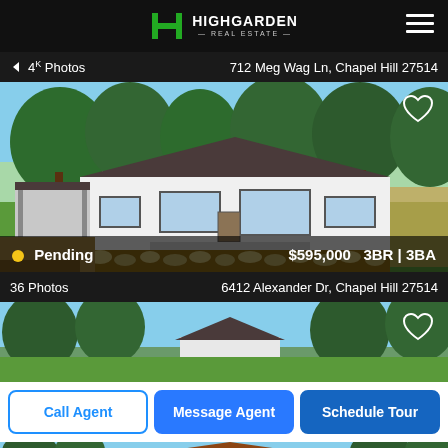HIGHGARDEN REAL ESTATE
4K Photos   712 Meg Wag Ln, Chapel Hill 27514
[Figure (photo): Front exterior of a single-story white ranch house with carport, large green lawn, and trees in background. Heart/favorite icon in top right corner.]
Pending  $595,000  3BR | 3BA
36 Photos   6412 Alexander Dr, Chapel Hill 27514
[Figure (photo): Partial view of a property with trees. Heart/favorite icon in top right corner.]
Call Agent
Message Agent
Schedule Tour
[Figure (photo): Bottom strip showing a third property listing with trees and house.]